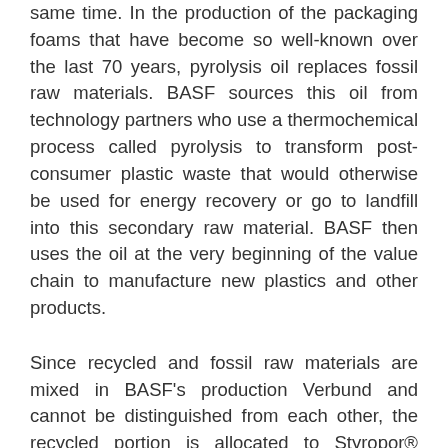same time. In the production of the packaging foams that have become so well-known over the last 70 years, pyrolysis oil replaces fossil raw materials. BASF sources this oil from technology partners who use a thermochemical process called pyrolysis to transform post-consumer plastic waste that would otherwise be used for energy recovery or go to landfill into this secondary raw material. BASF then uses the oil at the very beginning of the value chain to manufacture new plastics and other products.
Since recycled and fossil raw materials are mixed in BASF's production Verbund and cannot be distinguished from each other, the recycled portion is allocated to Styropor® Ccycled™ using a mass balance approach. Both the allocation process and the product itself, have been certified by an independent auditor. In addition, a certified